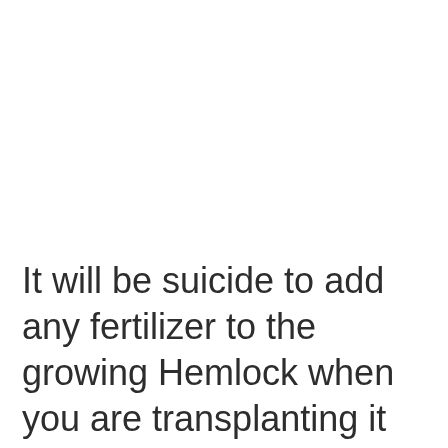It will be suicide to add any fertilizer to the growing Hemlock when you are transplanting it as it could burn the roots. Wait until a few months till the tree establishes itself firmly in the ground. Use 12-4-8, 10-10-10 or 8-8-8 fertilizers when the Hemlock has set its roots fertilize